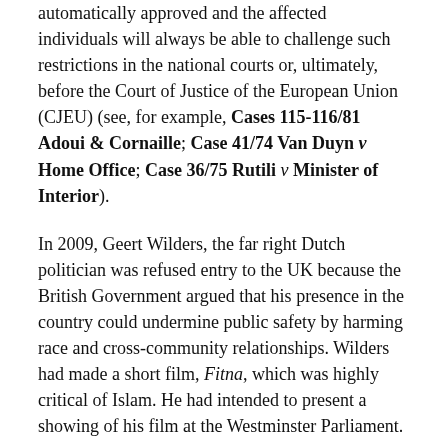automatically approved and the affected individuals will always be able to challenge such restrictions in the national courts or, ultimately, before the Court of Justice of the European Union (CJEU) (see, for example, Cases 115-116/81 Adoui & Cornaille; Case 41/74 Van Duyn v Home Office; Case 36/75 Rutili v Minister of Interior).
In 2009, Geert Wilders, the far right Dutch politician was refused entry to the UK because the British Government argued that his presence in the country could undermine public safety by harming race and cross-community relationships. Wilders had made a short film, Fitna, which was highly critical of Islam. He had intended to present a showing of his film at the Westminster Parliament.
Please see a link below to an article in The Guardian about the incident involving Wilders' attempted